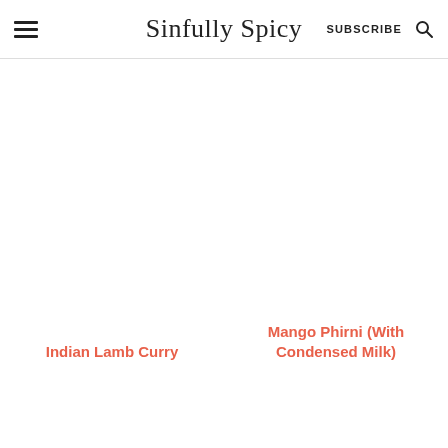Sinfully Spicy — SUBSCRIBE
[Figure (photo): Indian Lamb Curry dish photo (white/blank placeholder)]
Indian Lamb Curry
[Figure (photo): Mango Phirni (With Condensed Milk) dish photo (white/blank placeholder)]
Mango Phirni (With Condensed Milk)